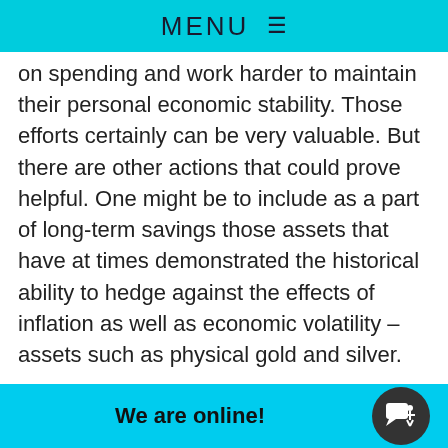MENU ≡
on spending and work harder to maintain their personal economic stability. Those efforts certainly can be very valuable. But there are other actions that could prove helpful. One might be to include as a part of long-term savings those assets that have at times demonstrated the historical ability to hedge against the effects of inflation as well as economic volatility – assets such as physical gold and silver.

Ultimately, each person will have to decide fo... what form t...
We are online!